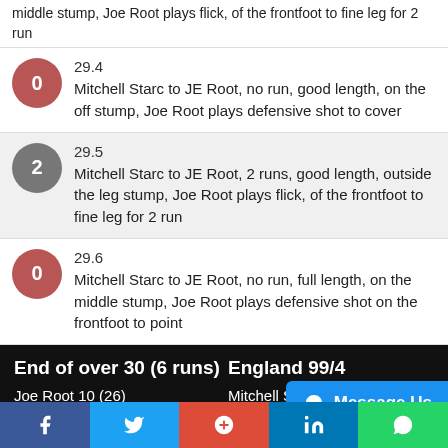middle stump, Joe Root plays flick, of the frontfoot to fine leg for 2 run (partial, top)
29.4 — Mitchell Starc to JE Root, no run, good length, on the off stump, Joe Root plays defensive shot to cover
29.5 — Mitchell Starc to JE Root, 2 runs, good length, outside the leg stump, Joe Root plays flick, of the frontfoot to fine leg for 2 run
29.6 — Mitchell Starc to JE Root, no run, full length, on the middle stump, Joe Root plays defensive shot on the frontfoot to point
End of over 30 (6 runs) | England 99/4 | Joe Root 10 (26) | Ollie Pope 1 (7) | Mitchell Starc 8-0-30-1 | Pat Cummins 8-...
30.1 — Pat Cummins to Ollie Pope, 1 run, full length, on the middle stump
Message Us
f  t  G+  in  (whatsapp)